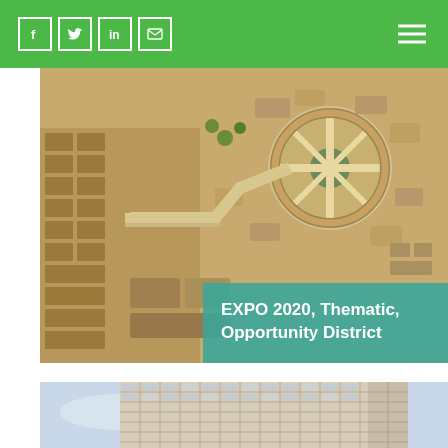Social icons: Facebook, Twitter, LinkedIn, Email; Hamburger menu
[Figure (photo): Aerial view of EXPO 2020 Thematic Opportunity District — urban master plan rendering showing a circular hub with radiating streets and surrounding development blocks in desert landscape.]
EXPO 2020, Thematic, Opportunity District
[Figure (photo): Close-up architectural rendering of a modern high-rise building facade showing a grid of floors and balconies against a light sky.]